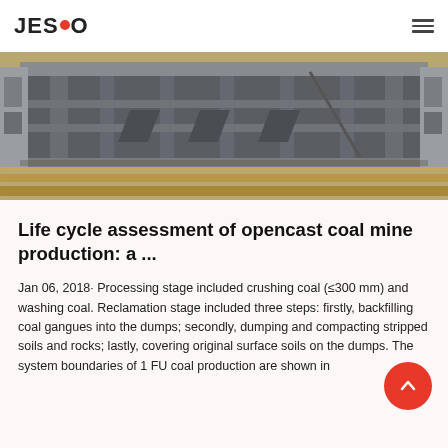JESCO
[Figure (photo): Industrial machinery — underside view of heavy mining or processing equipment, gray metal frame, on wooden pallets, photographed in a warehouse or production facility.]
Life cycle assessment of opencast coal mine production: a ...
Jan 06, 2018· Processing stage included crushing coal (≤300 mm) and washing coal. Reclamation stage included three steps: firstly, backfilling coal gangues into the dumps; secondly, dumping and compacting stripped soils and rocks; lastly, covering original surface soils on the dumps. The system boundaries of 1 FU coal production are shown in